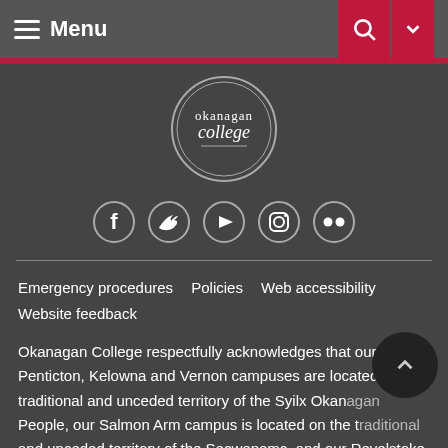≡ Menu
[Figure (logo): Okanagan College circular logo with text 'okanagan college']
[Figure (infographic): Social media icons row: Facebook, Twitter, YouTube, Instagram, Flickr — white icons in circular outlines]
Emergency procedures   Policies   Web accessibility   Website feedback
Okanagan College respectfully acknowledges that our Penticton, Kelowna and Vernon campuses are located on the traditional and unceded territory of the Syilx Okanagan People, our Salmon Arm campus is located on the traditional and unceded territory of the Secwepemc, and our Revelstoke centre is located on the traditional and unceded territories of